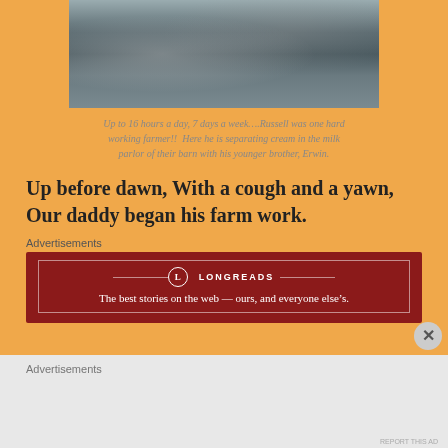[Figure (photo): Black and white photograph of two men in a barn milk parlor, separating cream. Cropped top portion showing figures and equipment.]
Up to 16 hours a day, 7 days a week….Russell was one hard working farmer!!  Here he is separating cream in the milk parlor of their barn with his younger brother, Erwin.
Up before dawn, With a cough and a yawn, Our daddy began his farm work.
Advertisements
[Figure (screenshot): Longreads advertisement banner. Red background with white border. Logo circle with L, brand name LONGREADS, tagline: The best stories on the web — ours, and everyone else's.]
Advertisements